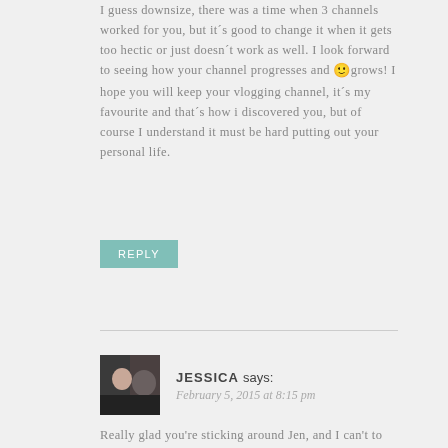I guess downsize, there was a time when 3 channels worked for you, but it´s good to change it when it gets too hectic or just doesn´t work as well. I look forward to seeing how your channel progresses and 🙂 grows! I hope you will keep your vlogging channel, it´s my favourite and that´s how i discovered you, but of course I understand it must be hard putting out your personal life.
REPLY
JESSICA says: February 5, 2015 at 8:15 pm
Really glad you're sticking around Jen, and I can't to see what's next!
REPLY